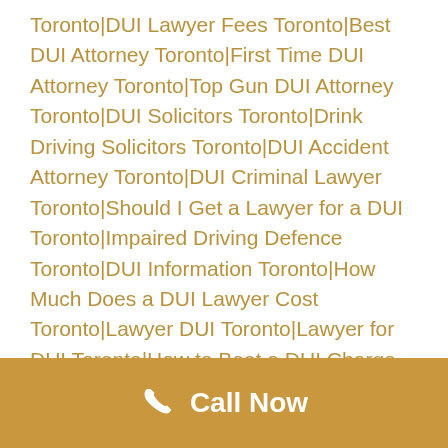Toronto|DUI Lawyer Fees Toronto|Best DUI Attorney Toronto|First Time DUI Attorney Toronto|Top Gun DUI Attorney Toronto|DUI Solicitors Toronto|Drink Driving Solicitors Toronto|DUI Accident Attorney Toronto|DUI Criminal Lawyer Toronto|Should I Get a Lawyer for a DUI Toronto|Impaired Driving Defence Toronto|DUI Information Toronto|How Much Does a DUI Lawyer Cost Toronto|Lawyer DUI Toronto|Lawyer for DUI Toronto|How to Beat a DUI Charge Toronto|How to Beat DUI Charge Toronto|Best DUI Lawyer Toronto|Local DUI Lawyers Toronto|DUI Lawyer Cost Toronto|Cost of DUI Lawyer Toronto|Cost of a DUI Lawyer Toronto|Lawyer for DUI
Call Now